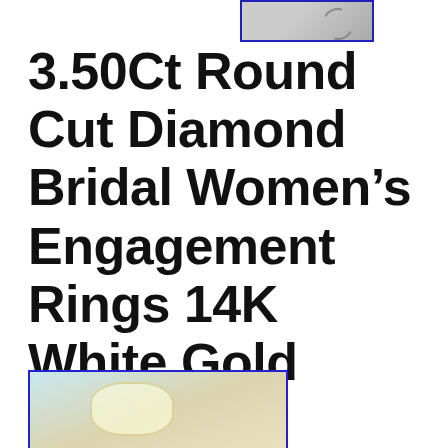[Figure (photo): Partial product image at top, showing a ring on a light background, with a blue border frame]
3.50Ct Round Cut Diamond Bridal Women’s Engagement Rings 14K White Gold Finish
[Figure (photo): Partial product image at bottom showing a gold-toned ring on a light blue background, with a blue border frame]